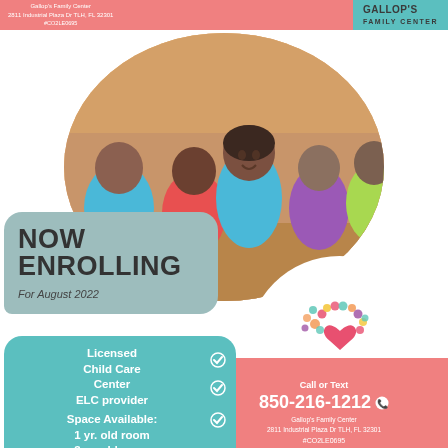Gallop's Family Center 2811 Industrial Plaza Dr TLH, FL 32301 #CO2LE0695 | GALLOP'S FAMILY CENTER
[Figure (photo): Children sitting at a table in a classroom setting, smiling and engaged in activities. A young girl in a blue shirt is prominently in the foreground.]
NOW ENROLLING
For August 2022
[Figure (logo): Gallop's Family Center logo: a tree made of colorful handprints with a heart in the center, and the text GALLOP'S FAMILY CENTER below.]
Licensed Child Care Center
ELC provider
Space Available: 1 yr. old room 3 yr. old room
Call or Text
850-216-1212
Gallop's Family Center
2811 Industrial Plaza Dr TLH, FL 32301
#CO2LE0695